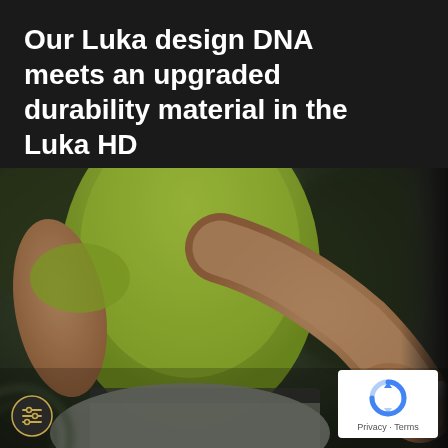Our Luka design DNA meets an upgraded durability material in the Luka HD
[Figure (photo): Close-up photo of a muscular person in a lime green sleeveless shirt gripping a metal bar or handle. The person has a tattoo on their hand. The background is blurred and dark green/grey tones, suggesting an outdoor gym or training environment.]